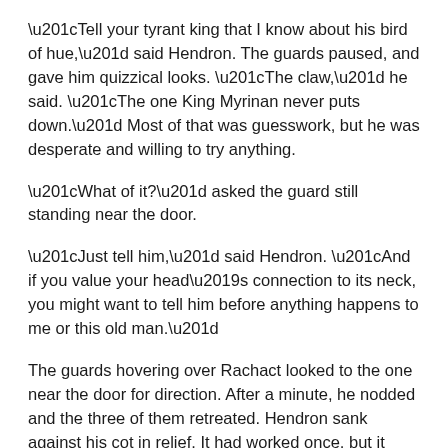“Tell your tyrant king that I know about his bird of hue,” said Hendron.  The guards paused, and gave him quizzical looks.  “The claw,” he said.  “The one King Myrinan never puts down.”  Most of that was guesswork, but he was desperate and willing to try anything.
“What of it?” asked the guard still standing near the door.
“Just tell him,” said Hendron.  “And if you value your head’s connection to its neck, you might want to tell him before anything happens to me or this old man.”
The guards hovering over Rachact looked to the one near the door for direction.  After a minute, he nodded and the three of them retreated.  Hendron sank against his cot in relief.  It had worked once, but it wouldn’t again.  He woke the old man.
“How is it defeated?” he asked.